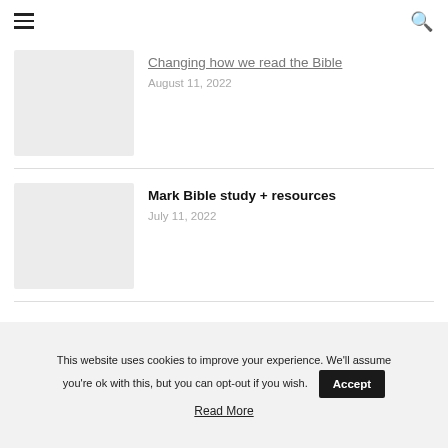☰ [menu icon] | [search icon]
Changing how we read the Bible
August 11, 2022
Mark Bible study + resources
July 11, 2022
This website uses cookies to improve your experience. We'll assume you're ok with this, but you can opt-out if you wish. Accept
Read More